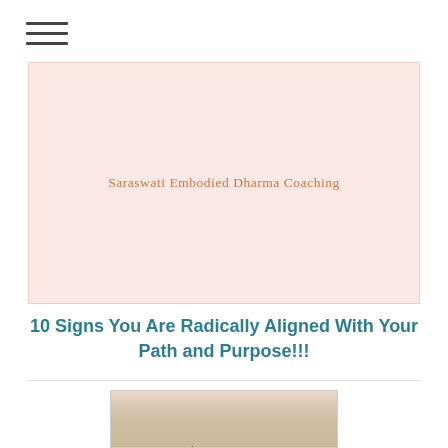[Figure (logo): Hamburger menu icon (three horizontal lines) in the top left corner]
[Figure (logo): Pink banner logo reading 'Saraswati Embodied Dharma Coaching' in orange serif text on a light pink background]
10 Signs You Are Radically Aligned With Your Path and Purpose!!!
[Figure (photo): Outdoor photo showing trees (pine/fir) silhouetted against a warm-toned sky at dusk or dawn]